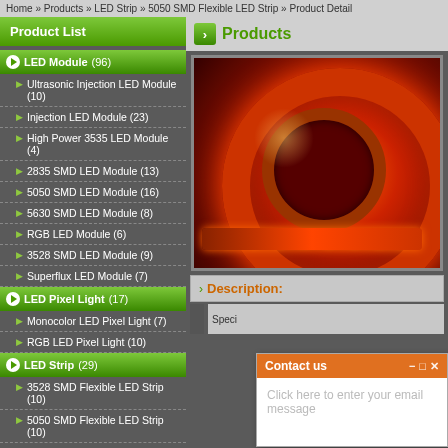Home » Products » LED Strip » 5050 SMD Flexible LED Strip » Product Detail
Product List
Products
LED Module (96)
Ultrasonic Injection LED Module (10)
Injection LED Module (23)
High Power 3535 LED Module (4)
2835 SMD LED Module (13)
5050 SMD LED Module (16)
5630 SMD LED Module (8)
RGB LED Module (6)
3528 SMD LED Module (9)
Superflux LED Module (7)
LED Pixel Light (17)
Monocolor LED Pixel Light (7)
RGB LED Pixel Light (10)
LED Strip (29)
3528 SMD Flexible LED Strip (10)
5050 SMD Flexible LED Strip (10)
RGB Flexible LED Strip (9)
Rigid LED Bar (2)
[Figure (photo): Red LED strip coiled in a spool, glowing brightly against dark background]
Description:
Speci
Contact us — Click here to enter your email message